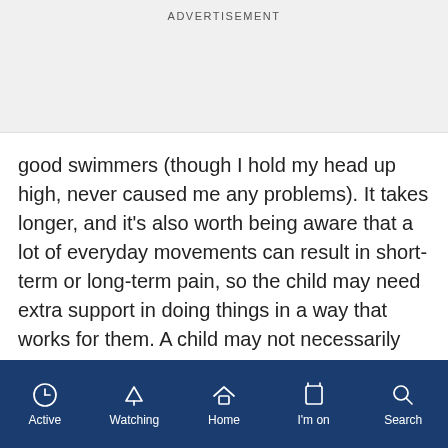ADVERTISEMENT
good swimmers (though I hold my head up high, never caused me any problems). It takes longer, and it's also worth being aware that a lot of everyday movements can result in short-term or long-term pain, so the child may need extra support in doing things in a way that works for them. A child may not necessarily realise that being in pain all the time is not normal, so refusal to do certain tasks may come across as stubbornness.
Active | Watching | Home | I'm on | Search